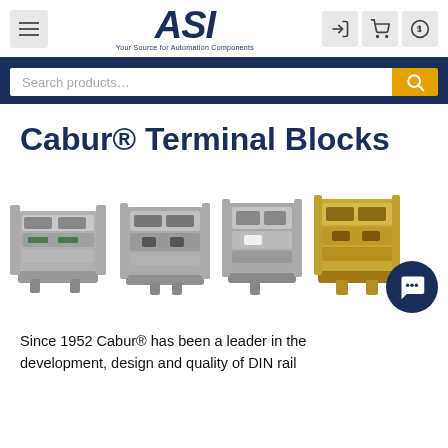[Figure (screenshot): ASI website header with hamburger menu, ASI logo with tagline 'Your Source for Automation Components', and icons for login, cart, and pricing.]
[Figure (screenshot): Search bar with 'Search products...' placeholder text and yellow search button with magnifying glass icon, set against dark navy blue background.]
Cabur® Terminal Blocks
[Figure (photo): Four Cabur terminal block products shown side by side: a gray multi-level terminal block, a gray fused terminal block, a gray standard terminal block, and a beige/yellow terminal block.]
Since 1952 Cabur® has been a leader in the development, design and quality of DIN rail